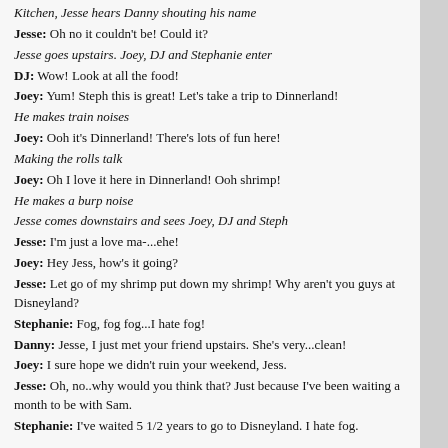Kitchen, Jesse hears Danny shouting his name
Jesse: Oh no it couldn't be! Could it?
Jesse goes upstairs. Joey, DJ and Stephanie enter
DJ: Wow! Look at all the food!
Joey: Yum! Steph this is great! Let's take a trip to Dinnerland!
He makes train noises
Joey: Ooh it's Dinnerland! There's lots of fun here!
Making the rolls talk
Joey: Oh I love it here in Dinnerland! Ooh shrimp!
He makes a burp noise
Jesse comes downstairs and sees Joey, DJ and Steph
Jesse: I'm just a love ma-...ehe!
Joey: Hey Jess, how's it going?
Jesse: Let go of my shrimp put down my shrimp! Why aren't you guys at Disneyland?
Stephanie: Fog, fog fog...I hate fog!
Danny: Jesse, I just met your friend upstairs. She's very...clean!
Joey: I sure hope we didn't ruin your weekend, Jess.
Jesse: Oh, no..why would you think that? Just because I've been waiting a month to be with Sam.
Stephanie: I've waited 5 1/2 years to go to Disneyland. I hate fog.